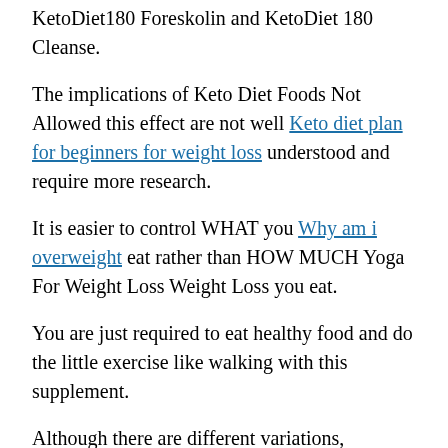KetoDiet180 Foreskolin and KetoDiet 180 Cleanse.
The implications of Keto Diet Foods Not Allowed this effect are not well Keto diet plan for beginners for weight loss understood and require more research.
It is easier to control WHAT you Why am i overweight eat rather than HOW MUCH Yoga For Weight Loss Weight Loss you eat.
You are just required to eat healthy food and do the little exercise like walking with this supplement.
Although there are different variations, essentially low carb diets restrict carbohydrate foods and replace them with foods usually high in protein and fat to lose weight.